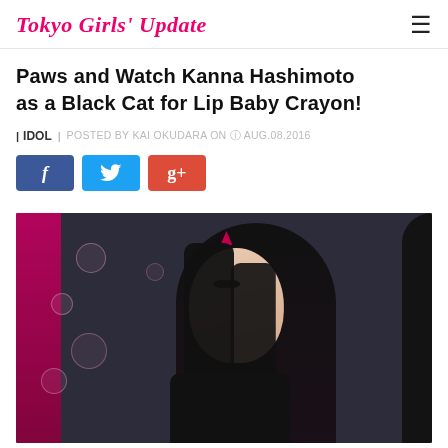Tokyo Girls' Update
Paws and Watch Kanna Hashimoto as a Black Cat for Lip Baby Crayon!
| IDOL | POSTED BY KAI OKUDARA ON AUG.08.2016
[Figure (other): Social share buttons: Facebook (blue), Twitter (light blue), Google+ (red)]
[Figure (photo): Photo of Kanna Hashimoto dressed as a black cat with cat ears headband, looking at the camera, with decorative bubbles in the background against a dark backdrop.]